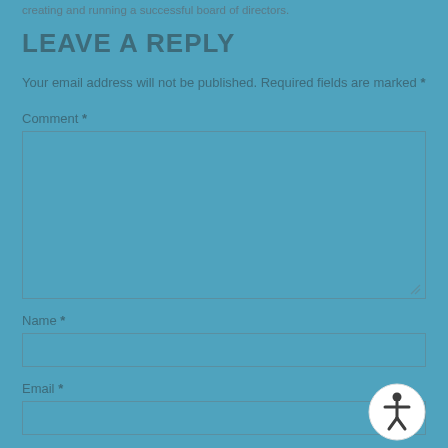creating and running a successful board of directors.
LEAVE A REPLY
Your email address will not be published. Required fields are marked *
Comment *
Name *
Email *